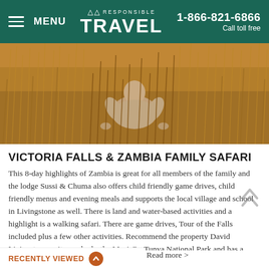MENU | RESPONSIBLE TRAVEL | 1-866-821-6866 | Call toll free
[Figure (photo): A person crouching in tall golden African grass, viewed from behind, in warm sunlight. Safari grassland scene.]
VICTORIA FALLS & ZAMBIA FAMILY SAFARI
This 8-day highlights of Zambia is great for all members of the family and the lodge Sussi & Chuma also offers child friendly game drives, child friendly menus and evening meals and supports the local village and school in Livingstone as well. There is land and water-based activities and a highlight is a walking safari. There are game drives, Tour of the Falls included plus a few other activities. Recommend the property David Livingstone as it over looks the Mosi-Oa-Tunya National Park and has a health & beauty Spa on site. We also get ...taff are and how welcome they ...deck river cruise so you will be
Read more >
RECENTLY VIEWED